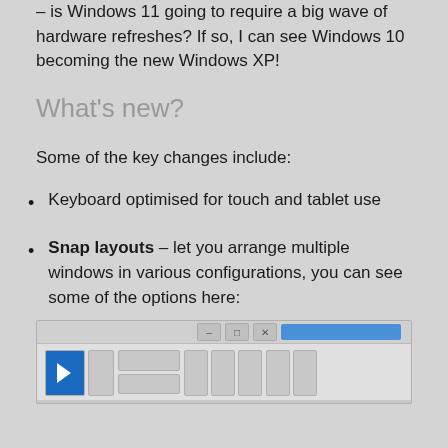– is Windows 11 going to require a big wave of hardware refreshes? If so, I can see Windows 10 becoming the new Windows XP!
What's new?
Some of the key changes include:
Keyboard optimised for touch and tablet use
Snap layouts – let you arrange multiple windows in various configurations, you can see some of the options here:
[Figure (screenshot): Screenshot showing Windows 11 Snap Layouts popup with a cursor icon on the first blue layout option and several other grey layout options displayed in a grid]